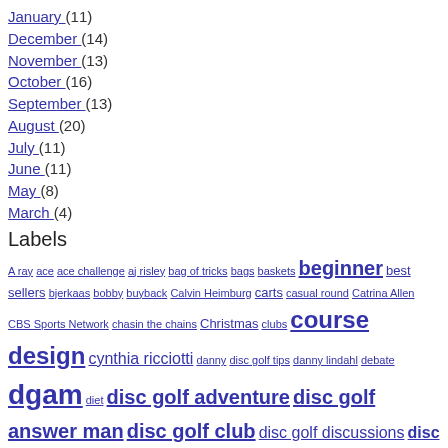January (11)
December (14)
November (13)
October (16)
September (13)
August (20)
July (11)
June (11)
May (8)
March (4)
Labels
A ray ace ace challenge aj risley bag of tricks bags baskets beginner best sellers bjerkaas bobby buyback Calvin Heimburg carts casual round Catrina Allen CBS Sports Network chasin the chains Christmas clubs course design cynthia ricciotti danny disc golf tips danny lindahl debate dgam diet disc golf adventure disc golf answer man disc golf club disc golf discussions disc golf experience disc golf is life disc golf match play disc golf strong disc golf tips disc series doug doug bjerkaas dustin keegan emporia eric mccabe eric oakley erika stinchcomb europe event updates fitness foods gbo gifts glass blown open goals grow disc golf grow disc golf day grow the sport growing the sport health holidays In The Bag ITB junior recruit junior worlds juniors kaiden bell kids kids disc golf league luck of